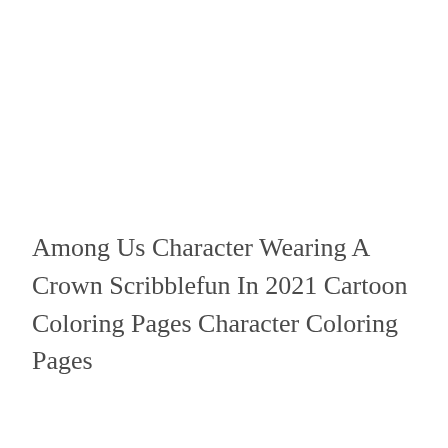Among Us Character Wearing A Crown Scribblefun In 2021 Cartoon Coloring Pages Character Coloring Pages